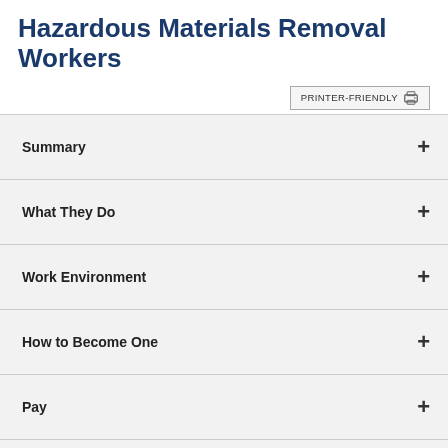Hazardous Materials Removal Workers
Summary
What They Do
Work Environment
How to Become One
Pay
Job Outlook
State & Area Data
Similar Occupations